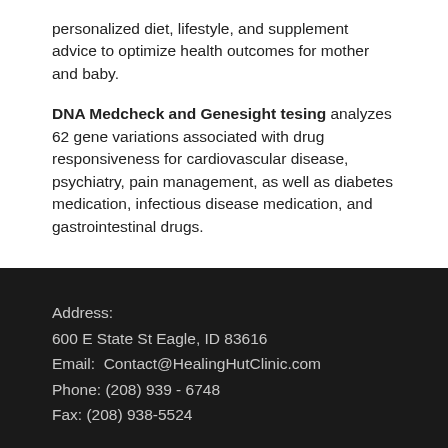personalized diet, lifestyle, and supplement advice to optimize health outcomes for mother and baby.
DNA Medcheck and Genesight tesing analyzes 62 gene variations associated with drug responsiveness for cardiovascular disease, psychiatry, pain management, as well as diabetes medication, infectious disease medication, and gastrointestinal drugs.
Address:
600 E State St Eagle, ID 83616
Email: Contact@HealingHutClinic.com
Phone: (208) 939 - 6748
Fax: (208) 938-5524